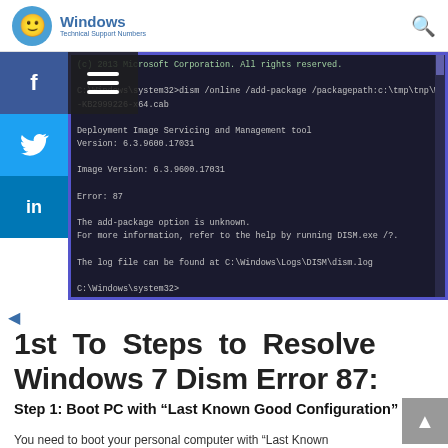Windows Technical Support Numbers
[Figure (screenshot): Command prompt window showing DISM error 87 output. Text: (c) 2013 Microsoft Corporation. All rights reserved. C:\Windows\system32>dism /online /add-package /packagepath:c:\tmp\tnp\Windows8.1-KB2999226-x64.cab Deployment Image Servicing and Management tool Version: 6.3.9600.17031 Image Version: 6.3.9600.17031 Error: 87 The add-package option is unknown. For more information, refer to the help by running DISM.exe /?. The log file can be found at C:\Windows\Logs\DISM\dism.log C:\Windows\system32>]
1st To Steps to Resolve Windows 7 Dism Error 87:
Step 1: Boot PC with “Last Known Good Configuration”
You need to boot your personal computer with “Last Known